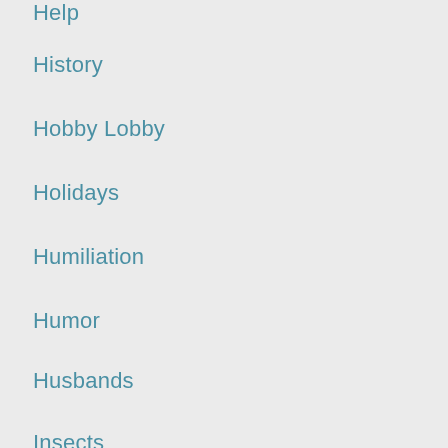Help
History
Hobby Lobby
Holidays
Humiliation
Humor
Husbands
Insects
iPad Art